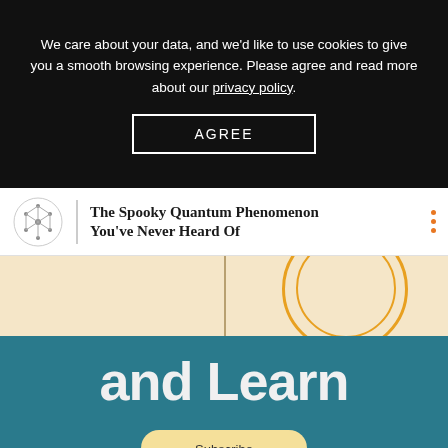We care about your data, and we'd like to use cookies to give you a smooth browsing experience. Please agree and read more about our privacy policy.
AGREE
The Spooky Quantum Phenomenon You've Never Heard Of
[Figure (illustration): Article thumbnail image showing a teal/dark cyan background with large white bold text 'and Learn', a beige/cream upper section with circular decorative rings and a vertical dividing line, and a Subscribe to YouTube button with a yellow-cream rounded rectangle badge.]